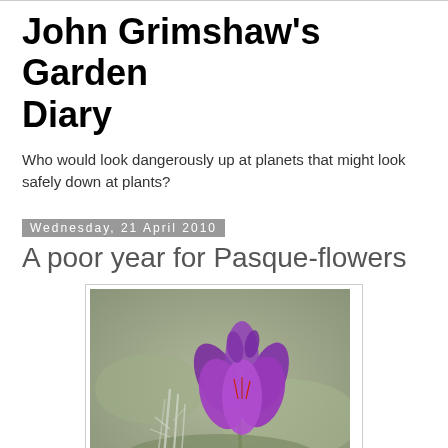John Grimshaw's Garden Diary
Who would look dangerously up at planets that might look safely down at plants?
Wednesday, 21 April 2010
A poor year for Pasque-flowers
[Figure (photo): Close-up photograph of a purple Pasque-flower bloom with silvery hairy foliage, against a blurred green-grey background]